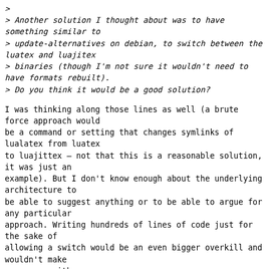>
> Another solution I thought about was to have something similar to
> update-alternatives on debian, to switch between the luatex and luajitex
> binaries (though I'm not sure it wouldn't need to have formats rebuilt).
> Do you think it would be a good solution?
I was thinking along those lines as well (a brute force approach would
be a command or setting that changes symlinks of lualatex from luatex
to luajittex – not that this is a reasonable solution, it was just an
example). But I don't know enough about the underlying architecture to
be able to suggest anything or to be able to argue for any particular
approach. Writing hundreds of lines of code just for the sake of
allowing a switch would be an even bigger overkill and wouldn't make
any sense either.
Rebuilding the format would be the easy part. I don't know how to
handle the rest. (And I also wouldn't consider it a problem if there
was just the plain binary there, for people to come up